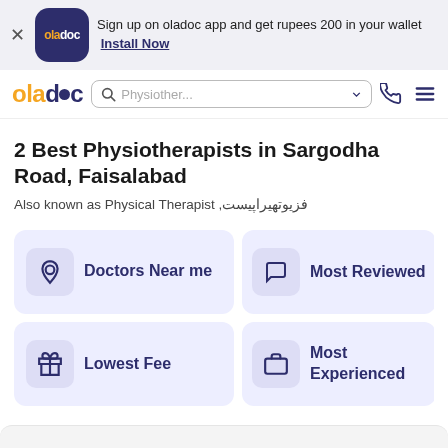Sign up on oladoc app and get rupees 200 in your wallet  Install Now
[Figure (logo): oladoc app logo - dark blue rounded square with oladoc text]
oladoc navigation bar with search box showing 'Physiother...' and phone/menu icons
2 Best Physiotherapists in Sargodha Road, Faisalabad
Also known as Physical Therapist ,فزیوتھیراپیست
Doctors Near me
Most Reviewed
Lowest Fee
Most Experienced